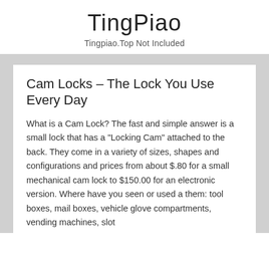TingPiao
Tingpiao.Top Not Included
Cam Locks – The Lock You Use Every Day
What is a Cam Lock? The fast and simple answer is a small lock that has a "Locking Cam" attached to the back. They come in a variety of sizes, shapes and configurations and prices from about $.80 for a small mechanical cam lock to $150.00 for an electronic version. Where have you seen or used a them: tool boxes, mail boxes, vehicle glove compartments, vending machines, slot